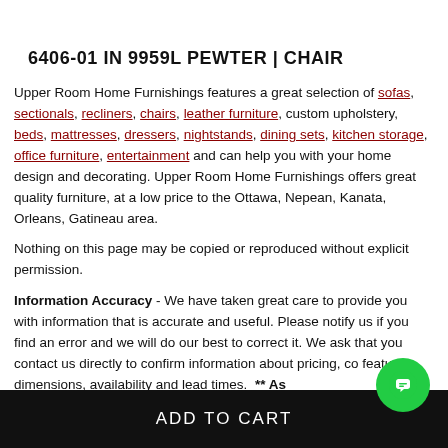6406-01 IN 9959L PEWTER | CHAIR
Upper Room Home Furnishings features a great selection of sofas, sectionals, recliners, chairs, leather furniture, custom upholstery, beds, mattresses, dressers, nightstands, dining sets, kitchen storage, office furniture, entertainment and can help you with your home design and decorating. Upper Room Home Furnishings offers great quality furniture, at a low price to the Ottawa, Nepean, Kanata, Orleans, Gatineau area.
Nothing on this page may be copied or reproduced without explicit permission.
Information Accuracy - We have taken great care to provide you with information that is accurate and useful. Please notify us if you find an error and we will do our best to correct it. We ask that you contact us directly to confirm information about pricing, co features, dimensions, availability and lead times.  ** As
ADD TO CART